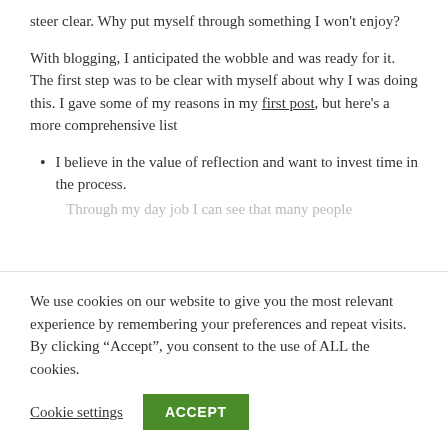steer clear. Why put myself through something I won't enjoy?
With blogging, I anticipated the wobble and was ready for it. The first step was to be clear with myself about why I was doing this. I gave some of my reasons in my first post, but here's a more comprehensive list
I believe in the value of reflection and want to invest time in the process.
Through my day job I can see that many people...
We use cookies on our website to give you the most relevant experience by remembering your preferences and repeat visits. By clicking “Accept”, you consent to the use of ALL the cookies.
Cookie settings | ACCEPT